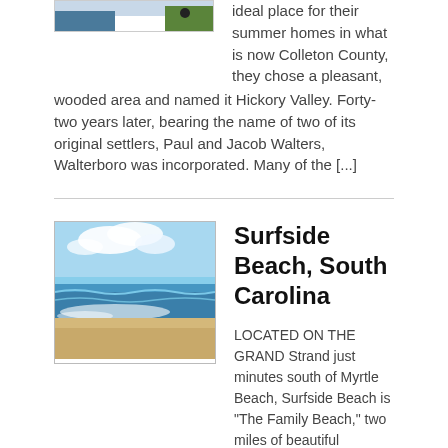[Figure (photo): Partial view of a building with trees, cropped at top of page]
ideal place for their summer homes in what is now Colleton County, they chose a pleasant, wooded area and named it Hickory Valley. Forty-two years later, bearing the name of two of its original settlers, Paul and Jacob Walters, Walterboro was incorporated. Many of the [...]
[Figure (photo): Beach scene with blue sky, clouds, ocean waves and sandy shore — Surfside Beach, South Carolina]
Surfside Beach, South Carolina
LOCATED ON THE GRAND Strand just minutes south of Myrtle Beach, Surfside Beach is "The Family Beach," two miles of beautiful shoreline and high